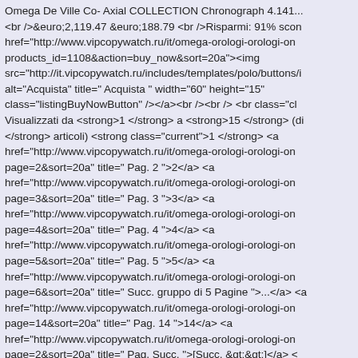Omega De Ville Co- Axial COLLECTION Chronograph 4.141... <br />&euro;2,119.47 &euro;188.79 <br />Risparmi: 91% scon href="http://www.vipcopywatch.ru/it/omega-orologi-orologi-on products_id=1108&action=buy_now&sort=20a"><img src="http://it.vipcopywatch.ru/includes/templates/polo/buttons/i alt="Acquista" title=" Acquista " width="60" height="15" class="listingBuyNowButton" /></a><br /><br /> <br class="cl Visualizzati da <strong>1 </strong> a <strong>15 </strong> (di </strong> articoli) <strong class="current">1 </strong> <a href="http://www.vipcopywatch.ru/it/omega-orologi-orologi-on page=2&sort=20a" title=" Pag. 2 ">2</a> <a href="http://www.vipcopywatch.ru/it/omega-orologi-orologi-on page=3&sort=20a" title=" Pag. 3 ">3</a> <a href="http://www.vipcopywatch.ru/it/omega-orologi-orologi-on page=4&sort=20a" title=" Pag. 4 ">4</a> <a href="http://www.vipcopywatch.ru/it/omega-orologi-orologi-on page=5&sort=20a" title=" Pag. 5 ">5</a> <a href="http://www.vipcopywatch.ru/it/omega-orologi-orologi-on page=6&sort=20a" title=" Succ. gruppo di 5 Pagine ">...</a> <a href="http://www.vipcopywatch.ru/it/omega-orologi-orologi-on page=14&sort=20a" title=" Pag. 14 ">14</a> <a href="http://www.vipcopywatch.ru/it/omega-orologi-orologi-on page=2&sort=20a" title=" Pag. Succ. ">[Succ. &gt;&gt;]</a> < /> </td> </tr> </table> \n <br class="clearBoth" /> <a style="c font:12px;" href="http://it.vipcopywatch.ru/index.php">Casa</a